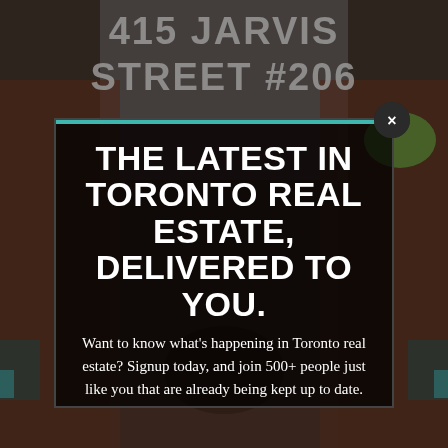[Figure (photo): Background photo of a brick building (415 Jarvis Street) with address text visible at top, dimmed/darkened overlay]
THE LATEST IN TORONTO REAL ESTATE, DELIVERED TO YOU.
Want to know what's happening in Toronto real estate? Signup today, and join 500+ people just like you that are already being kept up to date.